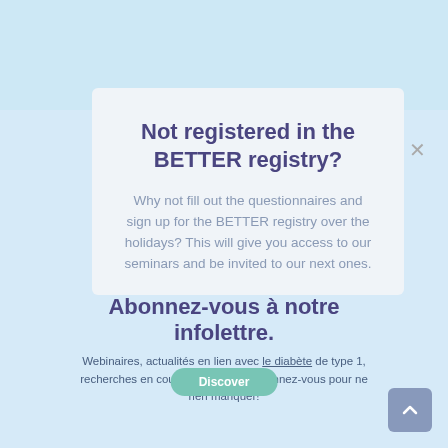Not registered in the BETTER registry?
Why not fill out the questionnaires and sign up for the BETTER registry over the holidays? This will give you access to our seminars and be invited to our next ones.
Abonnez-vous à notre infolettre.
Webinaires, actualités en lien avec le diabète de type 1, recherches en cours et bien plus. Abonnez-vous pour ne rien manquer!